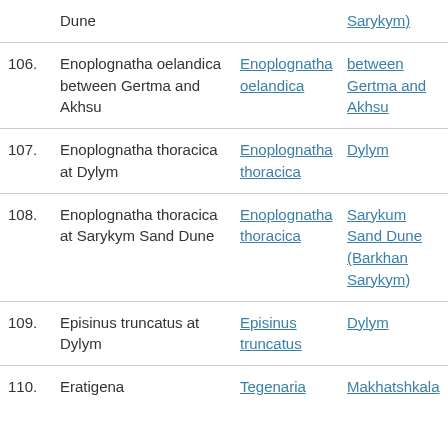| # | Taxon/Location | Species Link | Location Link |
| --- | --- | --- | --- |
|  | Dune |  | Sarykym) |
| 106. | Enoplognatha oelandica between Gertma and Akhsu | Enoplognatha oelandica | between Gertma and Akhsu |
| 107. | Enoplognatha thoracica at Dylym | Enoplognatha thoracica | Dylym |
| 108. | Enoplognatha thoracica at Sarykym Sand Dune | Enoplognatha thoracica | Sarykum Sand Dune (Barkhan Sarykym) |
| 109. | Episinus truncatus at Dylym | Episinus truncatus | Dylym |
| 110. | Eratigena | Tegenaria | Makhatshkala |